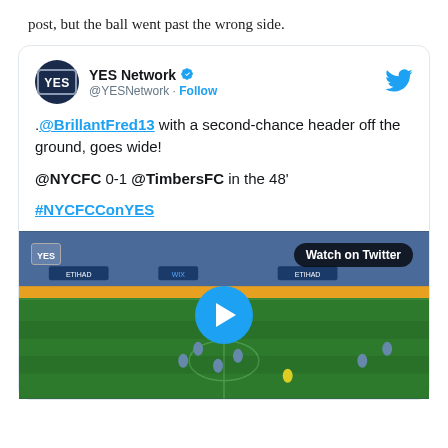post, but the ball went past the wrong side.
[Figure (screenshot): Embedded tweet from @YESNetwork showing a soccer match video clip. Tweet text: .@BrillantFred13 with a second-chance header off the ground, goes wide! @NYCFC 0-1 @TimbersFC in the 48' #NYCFCConYES. Video thumbnail shows a soccer match with a 'Watch on Twitter' badge and play button.]